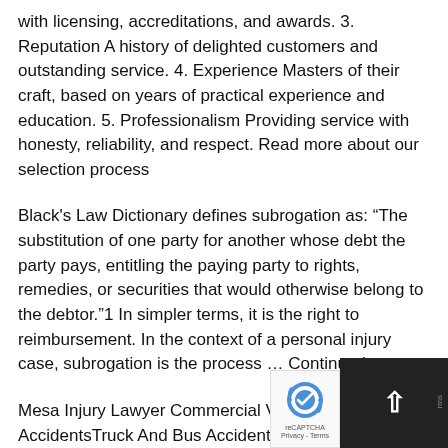with licensing, accreditations, and awards. 3. Reputation A history of delighted customers and outstanding service. 4. Experience Masters of their craft, based on years of practical experience and education. 5. Professionalism Providing service with honesty, reliability, and respect. Read more about our selection process
Black's Law Dictionary defines subrogation as: “The substitution of one party for another whose debt the party pays, entitling the paying party to rights, remedies, or securities that would otherwise belong to the debtor.”1 In simpler terms, it is the right to reimbursement. In the context of a personal injury case, subrogation is the process … Continued
Mesa Injury Lawyer Commercial Vehicle AccidentsTruck And Bus AccidentsCar And Motorcycle Accidents Mesa Injury Lawyer provides legal assistance to clients from Gilbert and neighboring communities. With a focus on personal injury law, the firm handles cases involving auto accidents, slip and fall injuries, dog bites,